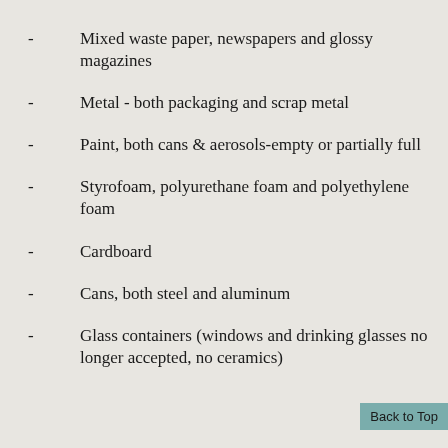Mixed waste paper, newspapers and glossy magazines
Metal - both packaging and scrap metal
Paint, both cans & aerosols-empty or partially full
Styrofoam, polyurethane foam and polyethylene foam
Cardboard
Cans, both steel and aluminum
Glass containers (windows and drinking glasses no longer accepted, no ceramics)
Back to Top